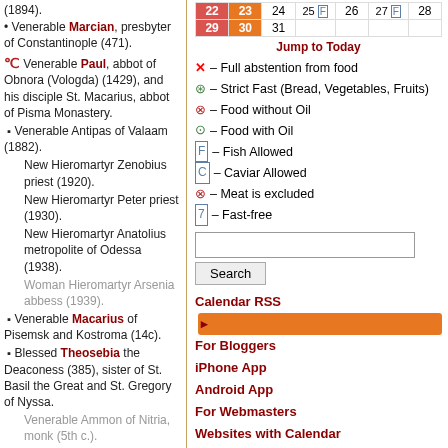(1894).
• Venerable Marcian, presbyter of Constantinople (471).
ℰ Venerable Paul, abbot of Obnora (Vologda) (1429), and his disciple St. Macarius, abbot of Pisma Monastery.
▪ Venerable Antipas of Valaam (1882).
New Hieromartyr Zenobius priest (1920).
New Hieromartyr Peter priest (1930).
New Hieromartyr Anatolius metropolite of Odessa (1938).
Woman Hieromartyr Arsenia abbess (1939).
▪ Venerable Macarius of Pisemsk and Kostroma (14c).
▪ Blessed Theosebia the Deaconess (385), sister of St. Basil the Great and St. Gregory of Nyssa.
Venerable Ammon of Nitria, monk (5th c.).
Venerable Antipas of Galapodeshti, Romania
| 22 | 23 | 24 | 25 F | 26 | 27 F | 28 |
| --- | --- | --- | --- | --- | --- | --- |
| 29 | 30 | 31 |  |  |  |  |
Jump to Today
✕ – Full abstention from food
⊛ – Strict Fast (Bread, Vegetables, Fruits)
⊗ – Food without Oil
⊙ – Food with Oil
F – Fish Allowed
C – Caviar Allowed
N – Meat is excluded
7 – Fast-free
Calendar RSS | For Bloggers | iPhone App | Android App | For Webmasters | Websites with Calendar | About Calendar | New Calendar Version
Paschalion
Feb 19 – Sunday of the Publican and Pharisee